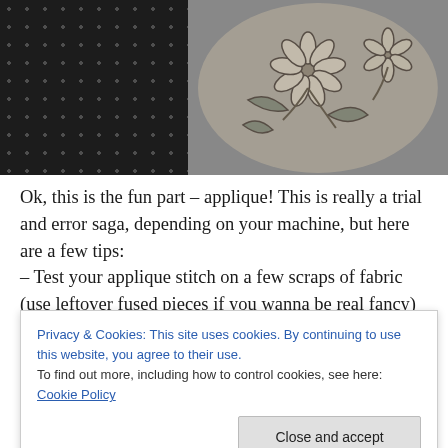[Figure (photo): Close-up photo showing two circular fabric or ceramic pieces side by side. The left piece is dark/black with a polka dot pattern, the right piece is grey/white with a floral pattern featuring flowers and leaves.]
Ok, this is the fun part – applique! This is really a trial and error saga, depending on your machine, but here are a few tips:
– Test your applique stitch on a few scraps of fabric (use leftover fused pieces if you wanna be real fancy) to make sure that you like your stitch. For my machine, I used a
Privacy & Cookies: This site uses cookies. By continuing to use this website, you agree to their use.
To find out more, including how to control cookies, see here: Cookie Policy
Close and accept
after you are finished, otherwise you'll end up forgetting